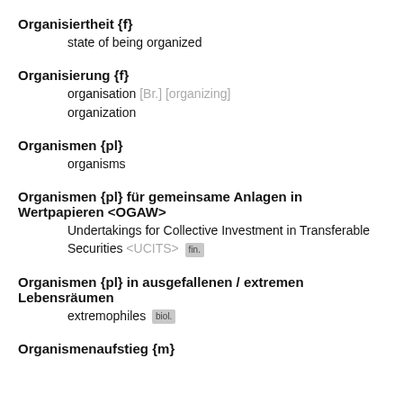Organisiertheit {f}
state of being organized
Organisierung {f}
organisation [Br.] [organizing]
organization
Organismen {pl}
organisms
Organismen {pl} für gemeinsame Anlagen in Wertpapieren <OGAW>
Undertakings for Collective Investment in Transferable Securities <UCITS> [fin.]
Organismen {pl} in ausgefallenen / extremen Lebensräumen
extremophiles [biol.]
Organismenaufstieg {m}